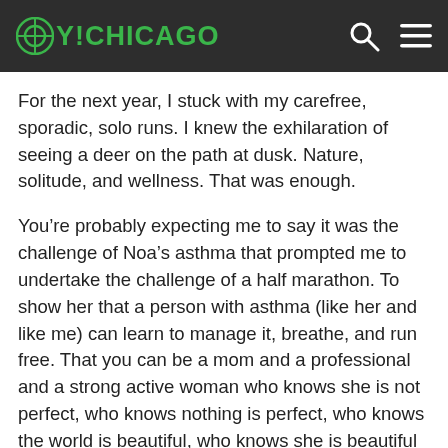OY!CHICAGO
For the next year, I stuck with my carefree, sporadic, solo runs. I knew the exhilaration of seeing a deer on the path at dusk. Nature, solitude, and wellness. That was enough.
You’re probably expecting me to say it was the challenge of Noa’s asthma that prompted me to undertake the challenge of a half marathon. To show her that a person with asthma (like her and like me) can learn to manage it, breathe, and run free. That you can be a mom and a professional and a strong active woman who knows she is not perfect, who knows nothing is perfect, who knows the world is beautiful, who knows she is beautiful as she runs.